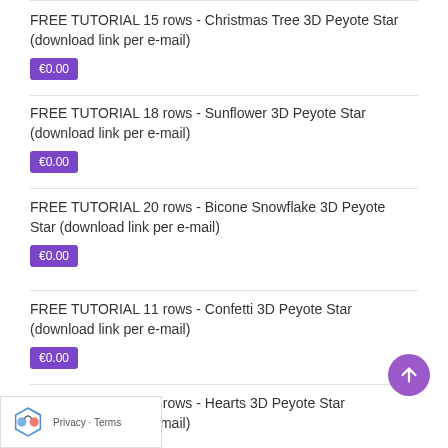FREE TUTORIAL 15 rows - Christmas Tree 3D Peyote Star (download link per e-mail)
€0.00
FREE TUTORIAL 18 rows - Sunflower 3D Peyote Star (download link per e-mail)
€0.00
FREE TUTORIAL 20 rows - Bicone Snowflake 3D Peyote Star (download link per e-mail)
€0.00
FREE TUTORIAL 11 rows - Confetti 3D Peyote Star (download link per e-mail)
€0.00
FREE TUTORIAL 25 rows - Hearts 3D Peyote Star (download link per e-mail)